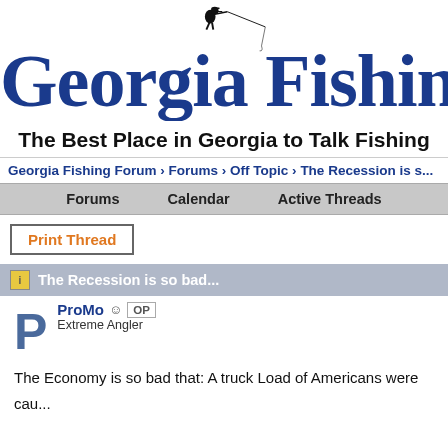[Figure (logo): Georgia Fishing forum logo with silhouette of a person fishing, bold blue serif text reading 'Georgia Fishing' and tagline 'The Best Place in Georgia to Talk Fishing']
Georgia Fishing Forum › Forums › Off Topic › The Recession is s...
Forums   Calendar   Active Threads
Print Thread
The Recession is so bad...
ProMo ☺ OP
Extreme Angler
The Economy is so bad that: A truck Load of Americans were cau...

I got a pre-declined Credit Card in the Mail yesterday.

The Mafia is laying off Judges.

McDonald's is selling the 1/4 ounce...